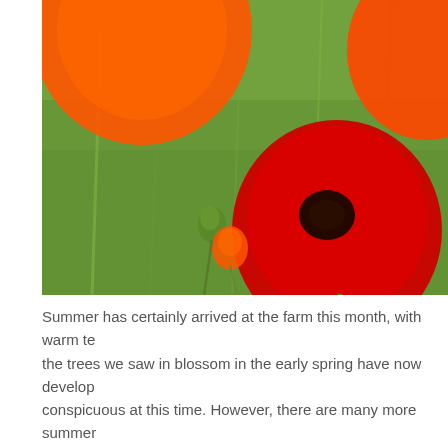[Figure (photo): Close-up photograph of red and orange poppy flowers in a green field, with poppy buds and stems visible against a blurred green background.]
Summer has certainly arrived at the farm this month, with warm te… the trees we saw in blossom in the early spring have now develop… conspicuous at this time. However, there are many more summer… seen elder fill with white blossoms, fields of poppies and irises sur… farm, and their arrival has been matched by an increase in pollina… Gatekeeper butterflies will be emerging soon as well as Large, Sm…